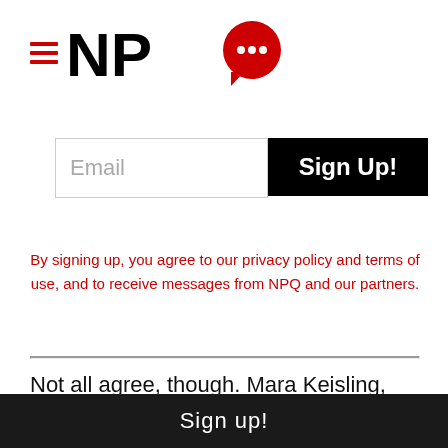[Figure (logo): NPQ logo with hamburger menu icon (three red horizontal lines) followed by 'NP' in bold black text and a red speech bubble with ellipsis forming the 'Q']
[Figure (other): Email input field with placeholder text 'Email' and a black 'Sign Up!' button to the right]
By signing up, you agree to our privacy policy and terms of use, and to receive messages from NPQ and our partners.
Not all agree, though. Mara Keisling, the executive director of the National Center for Transgender Equality, does believe the proposal is "about playing to the base and vilifying people." But she sees at as
Sign up!